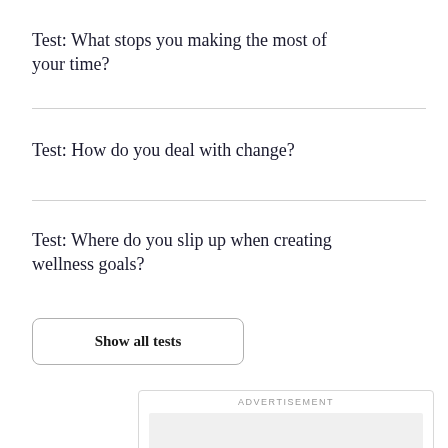Test: What stops you making the most of your time?
Test: How do you deal with change?
Test: Where do you slip up when creating wellness goals?
Show all tests
ADVERTISEMENT